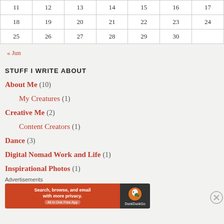| 11 | 12 | 13 | 14 | 15 | 16 | 17 |
| 18 | 19 | 20 | 21 | 22 | 23 | 24 |
| 25 | 26 | 27 | 28 | 29 | 30 |  |
« Jun
STUFF I WRITE ABOUT
About Me (10)
My Creatures (1)
Creative Me (2)
Content Creators (1)
Dance (3)
Digital Nomad Work and Life (1)
Inspirational Photos (1)
Advertisements
[Figure (screenshot): DuckDuckGo advertisement banner: orange left side with text 'Search, browse, and email with more privacy. All in One Free App', dark right side with DuckDuckGo logo and name.]